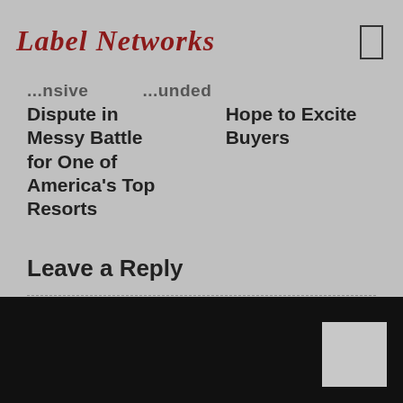Label Networks
...nsive   ...unded
Dispute in Messy Battle for One of America's Top Resorts
Hope to Excite Buyers
Leave a Reply
You must be logged in to post a comment.